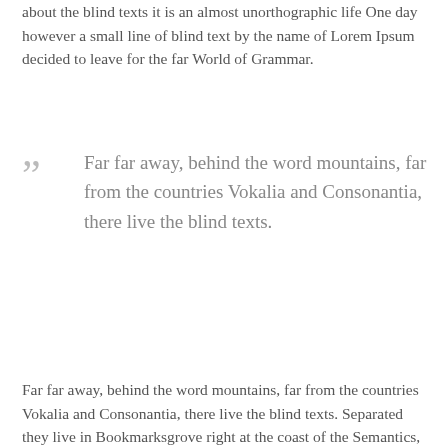about the blind texts it is an almost unorthographic life One day however a small line of blind text by the name of Lorem Ipsum decided to leave for the far World of Grammar.
Far far away, behind the word mountains, far from the countries Vokalia and Consonantia, there live the blind texts.
Far far away, behind the word mountains, far from the countries Vokalia and Consonantia, there live the blind texts. Separated they live in Bookmarksgrove right at the coast of the Semantics, a large language ocean. A small river named Duden flows by their place and supplies it with the necessary regelialia. It is a paradisematic country, in which roasted parts of sentences fly into your mouth. Even the all-powerful Pointing has no control about the blind texts it is an almost unorthographic life One day however a small line of blind text by the name of Lorem Ipsum